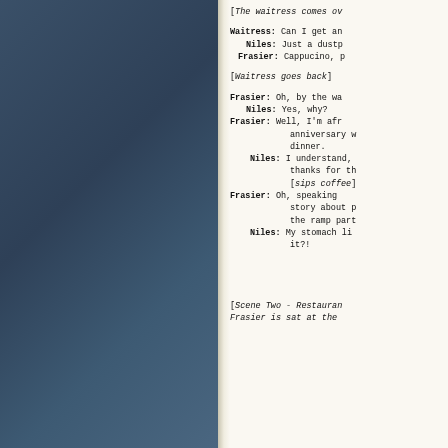[The waitress comes ov
Waitress: Can I get an
Niles: Just a dustp
Frasier: Cappucino, p
[Waitress goes back]
Frasier: Oh, by the wa
Niles: Yes, why?
Frasier: Well, I'm afr
  anniversary w
  dinner.
Niles: I understand,
  thanks for th
  [sips coffee]
Frasier: Oh, speaking
  story about p
  the ramp part
Niles: My stomach li
  it?!
[Scene Two - Restauran
Frasier is sat at the